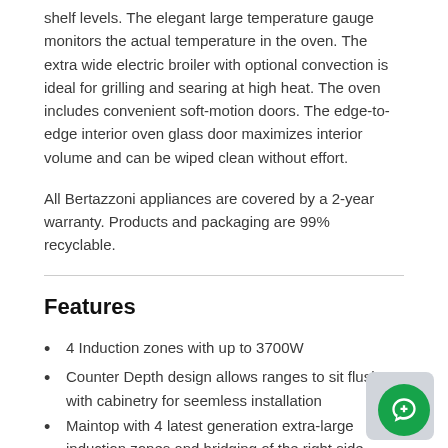shelf levels. The elegant large temperature gauge monitors the actual temperature in the oven. The extra wide electric broiler with optional convection is ideal for grilling and searing at high heat. The oven includes convenient soft-motion doors. The edge-to-edge interior oven glass door maximizes interior volume and can be wiped clean without effort.
All Bertazzoni appliances are covered by a 2-year warranty. Products and packaging are 99% recyclable.
Features
4 Induction zones with up to 3700W
Counter Depth design allows ranges to sit flush with cabinetry for seemless installation
Maintop with 4 latest generation extra-large induction zones and bridging of the right side zones